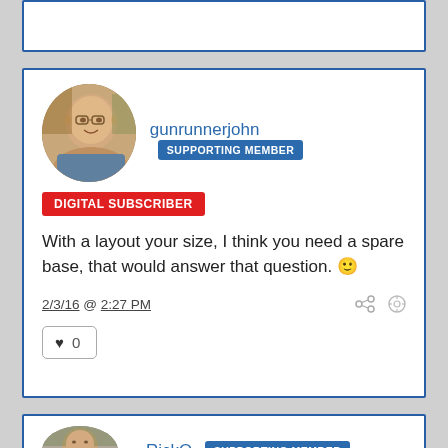[Figure (photo): Partial comment card at top of page, cropped]
[Figure (photo): Profile avatar of gunrunnerjohn, an older bald man with glasses]
gunrunnerjohn SUPPORTING MEMBER
DIGITAL SUBSCRIBER
With a layout your size, I think you need a spare base, that would answer that question. 🙂
2/3/16 @ 2:27 PM
0
[Figure (photo): Partial bottom card showing RickO profile avatar and username with SUPPORTING MEMBER badge]